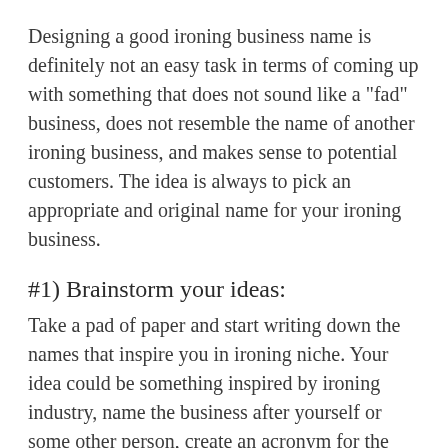Designing a good ironing business name is definitely not an easy task in terms of coming up with something that does not sound like a "fad" business, does not resemble the name of another ironing business, and makes sense to potential customers. The idea is always to pick an appropriate and original name for your ironing business.
#1) Brainstorm your ideas:
Take a pad of paper and start writing down the names that inspire you in ironing niche. Your idea could be something inspired by ironing industry, name the business after yourself or some other person, create an acronym for the main ironing services offered. One should also consider whether